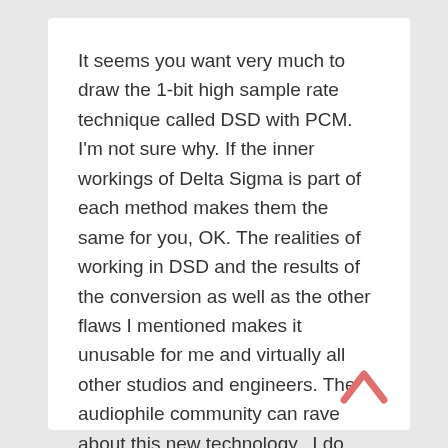It seems you want very much to draw the 1-bit high sample rate technique called DSD with PCM. I'm not sure why. If the inner workings of Delta Sigma is part of each method makes them the same for you, OK. The realities of working in DSD and the results of the conversion as well as the other flaws I mentioned makes it unusable for me and virtually all other studios and engineers. The audiophile community can rave about this new technology...I do not. And many other do not, including some of the format's former supporters. It's a diversion and should be forgotten in my opinion.
[Figure (other): A pink/salmon colored upward-pointing chevron arrow icon in the bottom right corner]